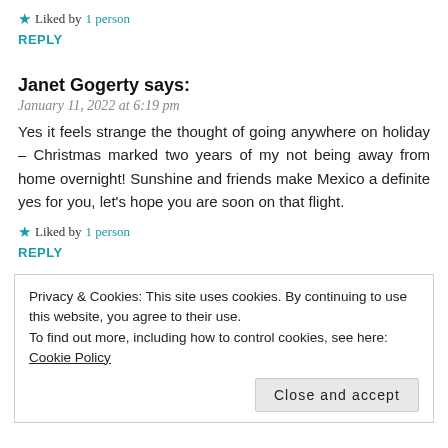★ Liked by 1 person
REPLY
Janet Gogerty says:
January 11, 2022 at 6:19 pm
Yes it feels strange the thought of going anywhere on holiday – Christmas marked two years of my not being away from home overnight! Sunshine and friends make Mexico a definite yes for you, let's hope you are soon on that flight.
★ Liked by 1 person
REPLY
Privacy & Cookies: This site uses cookies. By continuing to use this website, you agree to their use.
To find out more, including how to control cookies, see here: Cookie Policy
Close and accept